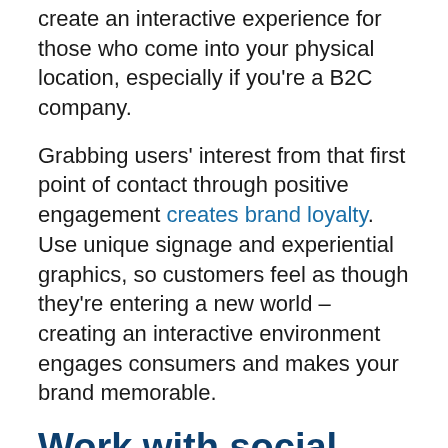create an interactive experience for those who come into your physical location, especially if you're a B2C company.
Grabbing users' interest from that first point of contact through positive engagement creates brand loyalty. Use unique signage and experiential graphics, so customers feel as though they're entering a new world – creating an interactive environment engages consumers and makes your brand memorable.
Work with social media influencers
Although you can certainly pay social media influencers for exposure, another idea is making connections on social media, sending out free products and hoping some influencers give your